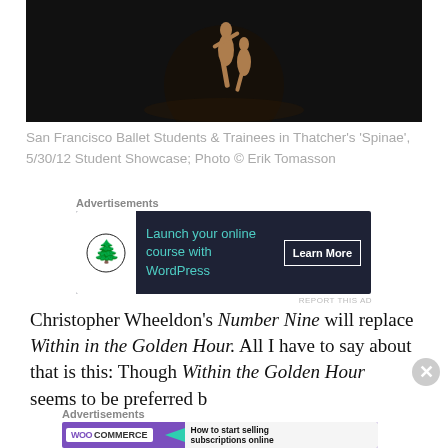[Figure (photo): Ballet dancers performing on stage against a dark background, captured mid-movement in a dramatic pose]
San Francisco Ballet Students & Trainees in Thatcher's 'Spinae', 5/30/12 Student Showcase; Photo © Erik Tomasson
[Figure (other): Advertisement: Launch your online course with WordPress - Learn More]
Christopher Wheeldon's Number Nine will replace Within in the Golden Hour. All I have to say about that is this: Though Within the Golden Hour seems to be preferred by
[Figure (other): Advertisement: WooCommerce - How to start selling subscriptions online]